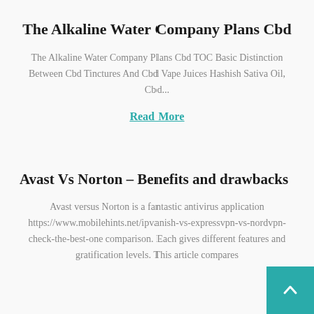The Alkaline Water Company Plans Cbd
The Alkaline Water Company Plans Cbd TOC Basic Distinction Between Cbd Tinctures And Cbd Vape Juices Hashish Sativa Oil, Cbd...
Read More
Avast Vs Norton – Benefits and drawbacks
Avast versus Norton is a fantastic antivirus application https://www.mobilehints.net/ipvanish-vs-expressvpn-vs-nordvpn-check-the-best-one comparison. Each gives different features and gratification levels. This article compares